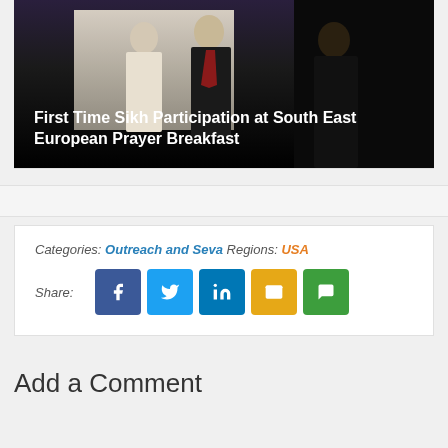[Figure (photo): Photo of people at South East European Prayer Breakfast, with two figures visible in dark clothing against a light background. Image has overlay title text.]
First Time Sikh Participation at South East European Prayer Breakfast
Categories: Outreach and Seva  Regions: USA
Share:
Add a Comment